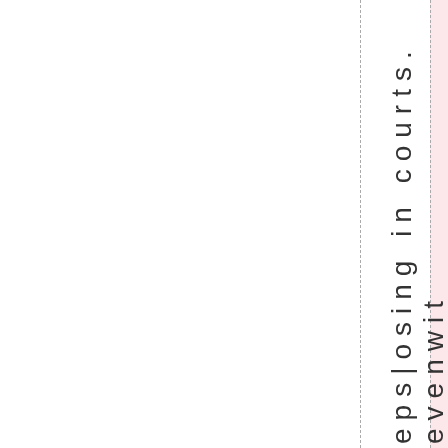[Figure (other): Page layout with pink highlighted column and two dashed vertical lines, with rotated vertical text reading 'eps|osin gi ncourts. evenwit' on the right side]
eps|osing in courts. even wit